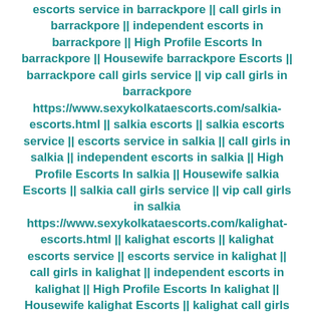escorts service in barrackpore || call girls in barrackpore || independent escorts in barrackpore || High Profile Escorts In barrackpore || Housewife barrackpore Escorts || barrackpore call girls service || vip call girls in barrackpore https://www.sexykolkataescorts.com/salkia-escorts.html || salkia escorts || salkia escorts service || escorts service in salkia || call girls in salkia || independent escorts in salkia || High Profile Escorts In salkia || Housewife salkia Escorts || salkia call girls service || vip call girls in salkia https://www.sexykolkataescorts.com/kalighat-escorts.html || kalighat escorts || kalighat escorts service || escorts service in kalighat || call girls in kalighat || independent escorts in kalighat || High Profile Escorts In kalighat || Housewife kalighat Escorts || kalighat call girls service || vip call girls in kalighat https://www.sexykolkataescorts.com/mahe